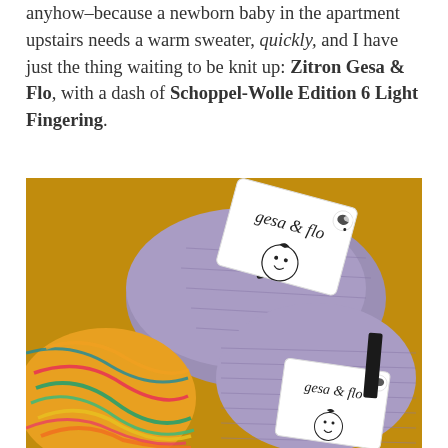anyhow–because a newborn baby in the apartment upstairs needs a warm sweater, quickly, and I have just the thing waiting to be knit up: Zitron Gesa & Flo, with a dash of Schoppel-Wolle Edition 6 Light Fingering.
[Figure (photo): Photo of yarn balls/skeins in lavender/purple and multicolor (green, pink, orange, yellow), with 'gesa & flo' yarn band labels visible on the purple skeins, against a warm golden-brown background.]